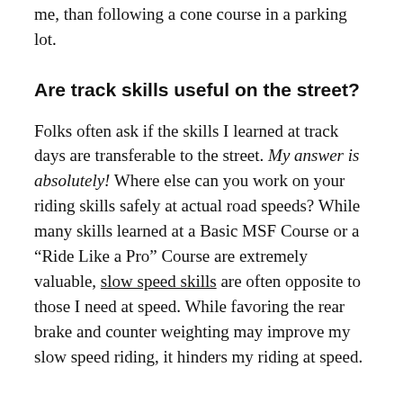addition, following an actual road was more realistic, for me, than following a cone course in a parking lot.
Are track skills useful on the street?
Folks often ask if the skills I learned at track days are transferable to the street. My answer is absolutely! Where else can you work on your riding skills safely at actual road speeds? While many skills learned at a Basic MSF Course or a “Ride Like a Pro” Course are extremely valuable, slow speed skills are often opposite to those I need at speed. While favoring the rear brake and counter weighting may improve my slow speed riding, it hinders my riding at speed.
Body Position Practice
Perhaps the best example of personal improvement